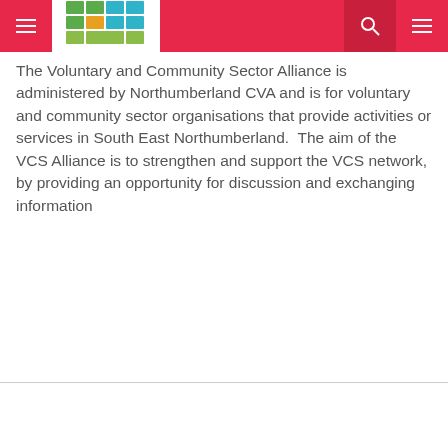[Figure (logo): Northumberland CVA logo with coloured squares/rectangles forming a grid pattern in green, blue, and orange tones]
The Voluntary and Community Sector Alliance is administered by Northumberland CVA and is for voluntary and community sector organisations that provide activities or services in South East Northumberland.  The aim of the VCS Alliance is to strengthen and support the VCS network, by providing an opportunity for discussion and exchanging information